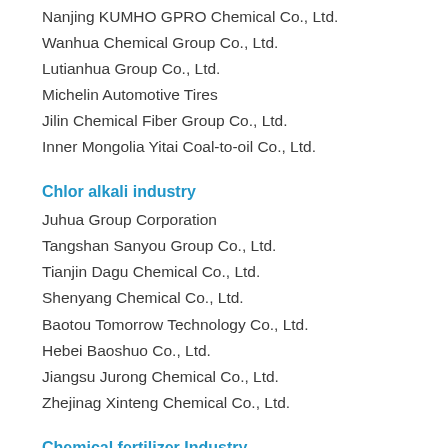Nanjing KUMHO GPRO Chemical Co., Ltd.
Wanhua Chemical Group Co., Ltd.
Lutianhua Group Co., Ltd.
Michelin Automotive Tires
Jilin Chemical Fiber Group Co., Ltd.
Inner Mongolia Yitai Coal-to-oil Co., Ltd.
Chlor alkali industry
Juhua Group Corporation
Tangshan Sanyou Group Co., Ltd.
Tianjin Dagu Chemical Co., Ltd.
Shenyang Chemical Co., Ltd.
Baotou Tomorrow Technology Co., Ltd.
Hebei Baoshuo Co., Ltd.
Jiangsu Jurong Chemical Co., Ltd.
Zhejinag Xinteng Chemical Co., Ltd.
Chemical fertilizer Industry
Sino-Arab Chemical Fertilizers Co., Ltd.
Hebei Xinhua Co., LTD.
Shandong Haihua Company Limited
Hebei Hutuo Fertilizer Plant